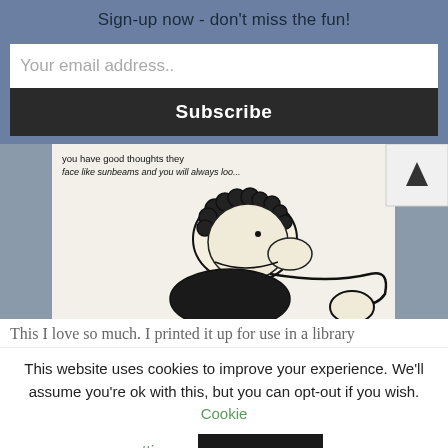Sign-up now - don't miss the fun!
Your email address..
Subscribe
[Figure (photo): A hand-drawn cartoon illustration of a curly-haired woman with a dog, with text at top reading 'you have good thoughts they face like sunbeams and you will always loo...']
This I love so much. I printed it up for use in a library
This website uses cookies to improve your experience. We'll assume you're ok with this, but you can opt-out if you wish. Cookie settings ACCEPT